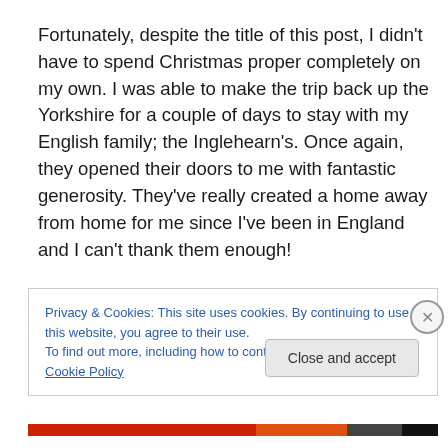Fortunately, despite the title of this post, I didn't have to spend Christmas proper completely on my own. I was able to make the trip back up the Yorkshire for a couple of days to stay with my English family; the Inglehearn's. Once again, they opened their doors to me with fantastic generosity. They've really created a home away from home for me since I've been in England and I can't thank them enough!
Privacy & Cookies: This site uses cookies. By continuing to use this website, you agree to their use.
To find out more, including how to control cookies, see here: Cookie Policy